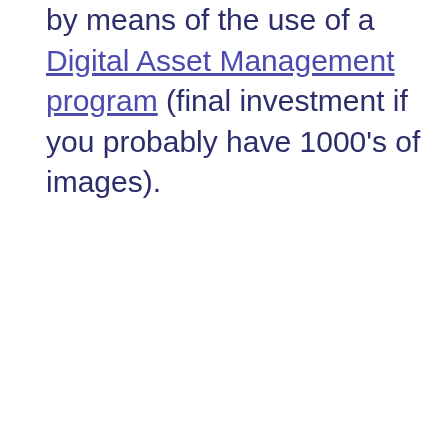by means of the use of a Digital Asset Management program (final investment if you probably have 1000's of images).